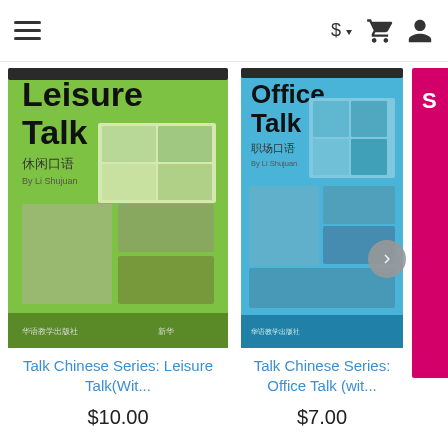Navigation header with hamburger menu, dollar/currency selector, cart icon, user icon
[Figure (photo): Book cover: Talk Chinese Series Leisure Talk (休闲口语), green cover with photos, by Li Shujuan]
Talk Chinese Series: Leisure Talk(Wit...
$10.00
[Figure (photo): Book cover: Talk Chinese Series Office Talk (职场口语), blue cover with photos, by Li Shujuan]
Talk Chinese Series: Office Talk (wit...
$7.00
[Figure (photo): Partial view of a third book cover, pink/magenta color]
↑ Back to Top | Home | About Us | My Account | Shopping Cart | Customer Support | Contact us | Cooperation | Affiliate Program | View Desktop Site | Copyright © 2022 Purple Culture